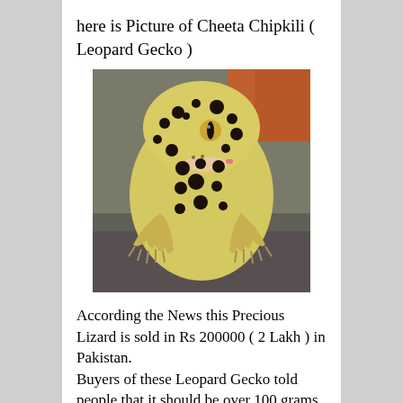here is Picture of Cheeta Chipkili ( Leopard Gecko )
[Figure (photo): Close-up photograph of a Leopard Gecko (Cheeta Chipkili) with yellow and black spotted skin, prominent eye with vertical slit pupil, resting on a dark rock surface.]
According the News this Precious Lizard is sold in Rs 200000 ( 2 Lakh ) in Pakistan.
Buyers of these Leopard Gecko told people that it should be over 100 grams. If its weight is 150 grams its more and more money.